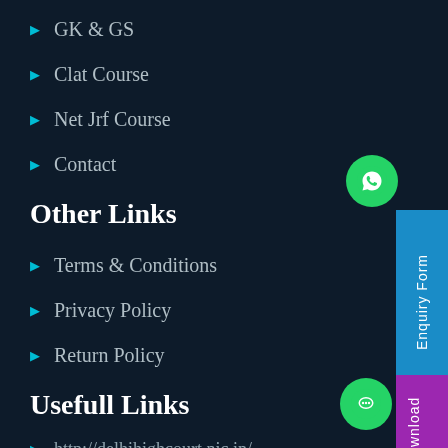GK & GS
Clat Course
Net Jrf Course
Contact
Other Links
Terms & Conditions
Privacy Policy
Return Policy
Usefull Links
http://delhihighcourt.nic.in/